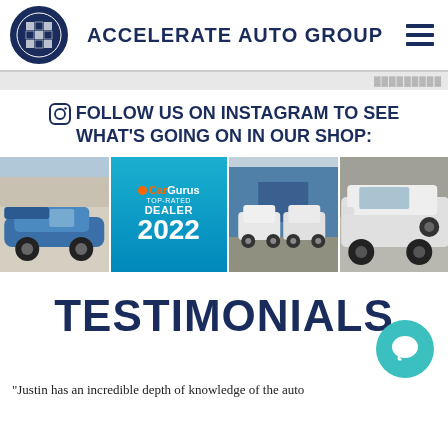ACCELERATE AUTO GROUP
FOLLOW US ON INSTAGRAM TO SEE WHAT'S GOING ON IN OUR SHOP:
[Figure (photo): Four-image horizontal strip: blue classic muscle car in garage, CarGurus Top-Rated Dealer 2022 badge, white Mercedes G-Wagons parked outside blue building, white Mercedes G-Wagon close-up]
TESTIMONIALS
“Justin has an incredible depth of knowledge of the auto